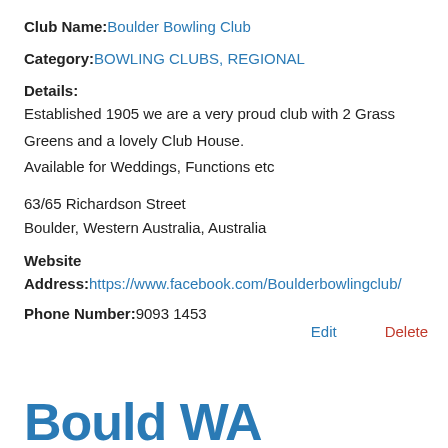Club Name: Boulder Bowling Club
Category: BOWLING CLUBS, REGIONAL
Details:
Established 1905 we are a very proud club with 2 Grass Greens and a lovely Club House.
Available for Weddings, Functions etc
63/65 Richardson Street
Boulder, Western Australia, Australia
Website
Address: https://www.facebook.com/Boulderbowlingclub/
Phone Number: 9093 1453
Edit    Delete
Bould WA